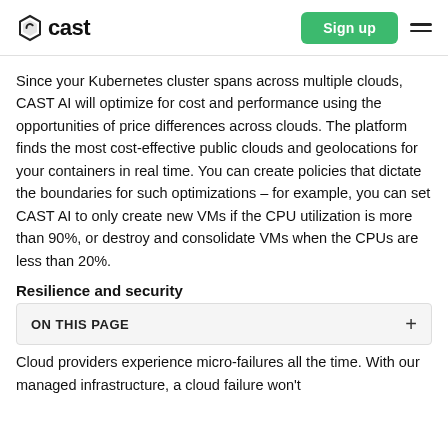cast — Sign up
Since your Kubernetes cluster spans across multiple clouds, CAST AI will optimize for cost and performance using the opportunities of price differences across clouds. The platform finds the most cost-effective public clouds and geolocations for your containers in real time. You can create policies that dictate the boundaries for such optimizations – for example, you can set CAST AI to only create new VMs if the CPU utilization is more than 90%, or destroy and consolidate VMs when the CPUs are less than 20%.
Resilience and security
ON THIS PAGE +
Cloud providers experience micro-failures all the time. With our managed infrastructure, a cloud failure won't